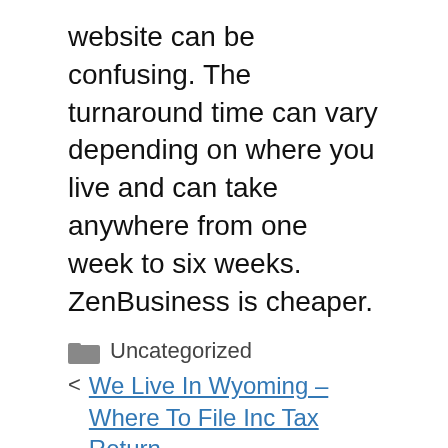website can be confusing. The turnaround time can vary depending on where you live and can take anywhere from one week to six weeks. ZenBusiness is cheaper.
Uncategorized
We Live In Wyoming – Where To File Inc Tax Return
What Is A Inc File Extension
Search